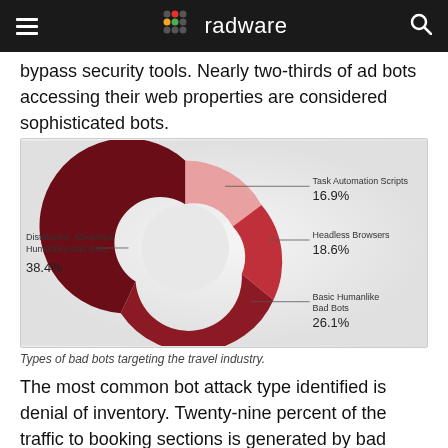radware
bypass security tools. Nearly two-thirds of ad bots accessing their web properties are considered sophisticated bots.
[Figure (donut-chart): Types of bad bots targeting the travel industry.]
Types of bad bots targeting the travel industry.
The most common bot attack type identified is denial of inventory. Twenty-nine percent of the traffic to booking sections is generated by bad bots. These bots can hold